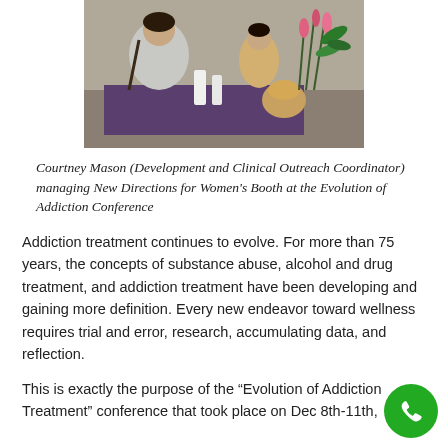[Figure (photo): Photo of people at a conference booth with a purple tablecloth and flowers, viewed from behind. Two people appear to be at a registration or information table.]
Courtney Mason (Development and Clinical Outreach Coordinator) managing New Directions for Women's Booth at the Evolution of Addiction Conference
Addiction treatment continues to evolve. For more than 75 years, the concepts of substance abuse, alcohol and drug treatment, and addiction treatment have been developing and gaining more definition. Every new endeavor toward wellness requires trial and error, research, accumulating data, and reflection.
This is exactly the purpose of the “Evolution of Addiction Treatment” conference that took place on Dec 8th-11th,